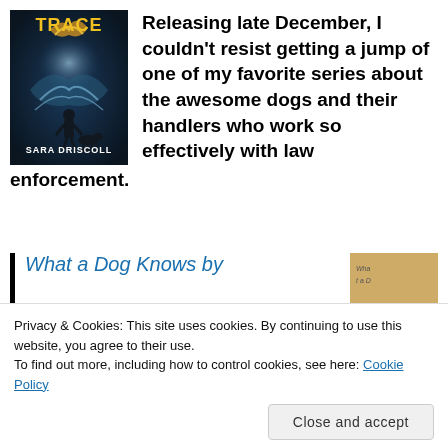[Figure (illustration): Book cover of a thriller novel with dark blue background, figure of person with dog, yellow title text 'TRACE', author name 'SARA DRISCOLL' at bottom]
Releasing late December, I couldn't resist getting a jump of one of my favorite series about the awesome dogs and their handlers who work so effectively with law enforcement.
What a Dog Knows by
[Figure (photo): Partial book cover thumbnail visible on right side, tan/beige color]
tension. The harder her
Privacy & Cookies: This site uses cookies. By continuing to use this website, you agree to their use.
To find out more, including how to control cookies, see here: Cookie Policy